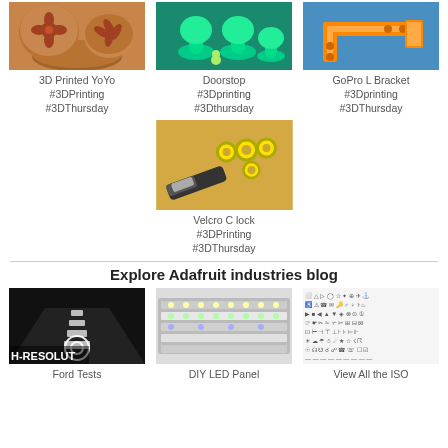[Figure (photo): 3D printed yoyo with orange/brown flower stamp pieces]
[Figure (photo): Green 3D printed doorstop mushroom-shaped suction cups]
[Figure (photo): Orange GoPro L Bracket 3D printed]
3D Printed YoYo
#3DPrinting
#3DThursday
Doorstop
#3Dprinting
#3Dthursday
GoPro L Bracket
#3Dprinting
#3DThursday
[Figure (photo): Velcro C lock - yellow 3D printed numbers and USB cable on wood surface]
Velcro C lock
#3DPrinting
#3DThursday
Explore Adafruit industries blog
[Figure (photo): Ford test high resolution road with projected symbol]
[Figure (photo): DIY LED Panel strip lighting]
[Figure (photo): View All the ISO symbols/icons sheet]
Ford Tests
DIY LED Panel
View All the ISO